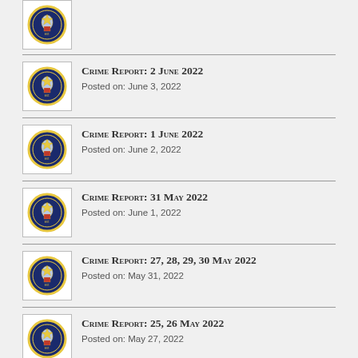[Figure (logo): Police department badge/seal - partial top entry]
Crime Report: 2 June 2022
Posted on: June 3, 2022
Crime Report: 1 June 2022
Posted on: June 2, 2022
Crime Report: 31 May 2022
Posted on: June 1, 2022
Crime Report: 27, 28, 29, 30 May 2022
Posted on: May 31, 2022
Crime Report: 25, 26 May 2022
Posted on: May 27, 2022